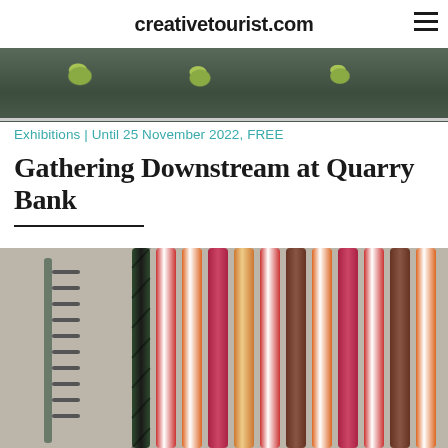creativetourist.com
[Figure (photo): Top banner photograph showing aerial or top-down view of a stone or concrete wall with green foliage/plants growing along it]
Exhibitions | Until 25 November 2022, FREE
Gathering Downstream at Quarry Bank
[Figure (photo): Close-up photograph of colorful twisted rope or yarn strands hanging from a metal rack/peg board, showing spiraling multicolored threads in red/white, orange/white, green/black, pink, brown and other colors]